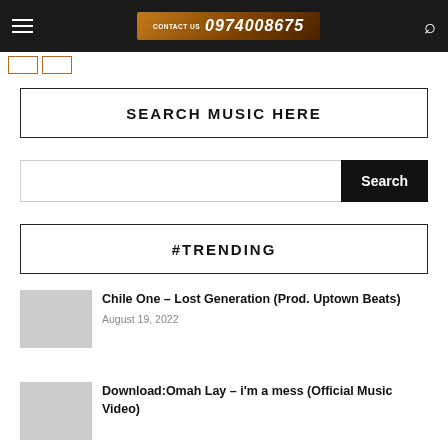CONTACT US 0974008675
SEARCH MUSIC HERE
Search
#TRENDING
Chile One – Lost Generation (Prod. Uptown Beats)
August 19, 2022
Download:Omah Lay – i'm a mess (Official Music Video)